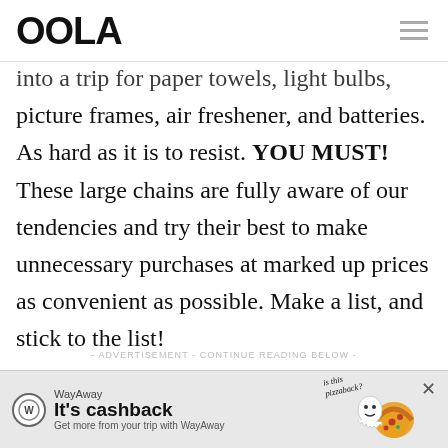OOLA
into a trip for paper towels, light bulbs, picture frames, air freshener, and batteries. As hard as it is to resist. YOU MUST! These large chains are fully aware of our tendencies and try their best to make unnecessary purchases at marked up prices as convenient as possible. Make a list, and stick to the list!
- ADVERTISEMENT - CONTINUE READING BELOW -
[Figure (infographic): WayAway advertisement banner: logo circle with 'W', brand name 'WayAway', headline 'It's cashback', subtext 'Get more from your trip with WayAway', illustrated pizza character and 'is this pizzaback?' text, close X button]